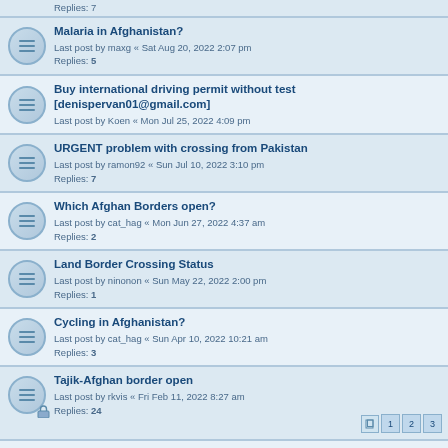Replies: 7
Malaria in Afghanistan?
Last post by maxg « Sat Aug 20, 2022 2:07 pm
Replies: 5
Buy international driving permit without test [denispervan01@gmail.com]
Last post by Koen « Mon Jul 25, 2022 4:09 pm
URGENT problem with crossing from Pakistan
Last post by ramon92 « Sun Jul 10, 2022 3:10 pm
Replies: 7
Which Afghan Borders open?
Last post by cat_hag « Mon Jun 27, 2022 4:37 am
Replies: 2
Land Border Crossing Status
Last post by ninonon « Sun May 22, 2022 2:00 pm
Replies: 1
Cycling in Afghanistan?
Last post by cat_hag « Sun Apr 10, 2022 10:21 am
Replies: 3
Tajik-Afghan border open
Last post by rkvis « Fri Feb 11, 2022 8:27 am
Replies: 24
Uzbekistan or Tajikistan visa for an Afghan citizen
Last post by steven « Mon Aug 30, 2021 9:33 am
Replies: 5
sigh
Last post by petilama « Sat Aug 21, 2021 2:32 am